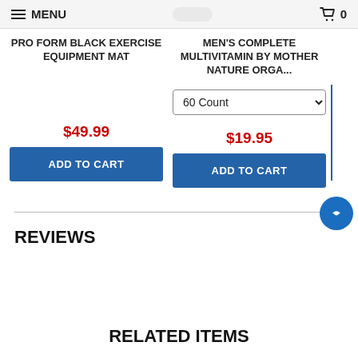MENU | 0
PRO FORM BLACK EXERCISE EQUIPMENT MAT
MEN'S COMPLETE MULTIVITAMIN BY MOTHER NATURE ORGA...
60 Count
$49.99
ADD TO CART
$19.95
ADD TO CART
REVIEWS
RELATED ITEMS